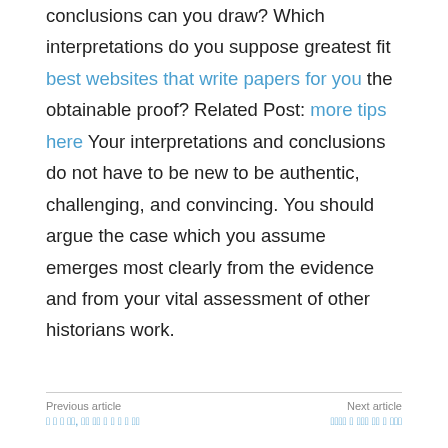conclusions can you draw? Which interpretations do you suppose greatest fit best websites that write papers for you the obtainable proof? Related Post: more tips here Your interpretations and conclusions do not have to be new to be authentic, challenging, and convincing. You should argue the case which you assume emerges most clearly from the evidence and from your vital assessment of other historians work.
Previous article | Next article